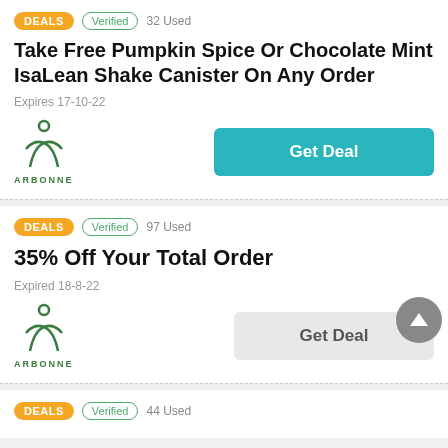[Figure (other): Deals listing card 1: DEALS badge, Verified badge, 32 Used, title 'Take Free Pumpkin Spice Or Chocolate Mint IsaLean Shake Canister On Any Order', Expires 17-10-22, Arbonne logo, Get Deal button (teal)]
[Figure (other): Deals listing card 2: DEALS badge, Verified badge, 97 Used, title '35% Off Your Total Order', Expired 18-8-22, Arbonne logo, Get Deal button (gray), scroll-to-top button]
[Figure (other): Deals listing card 3 partial: DEALS badge, Verified badge, 44 Used]